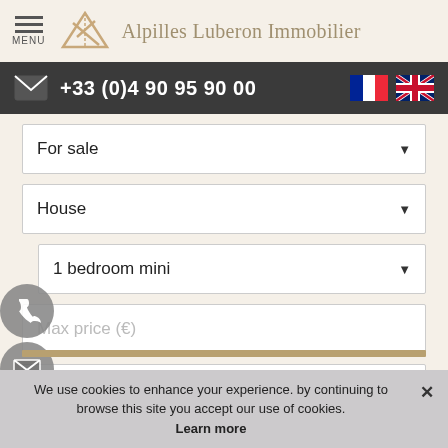MENU | Alpilles Luberon Immobilier
+33 (0)4 90 95 90 00
For sale
House
1 bedroom mini
Max price (€)
Cities
We use cookies to enhance your experience. by continuing to browse this site you accept our use of cookies. Learn more